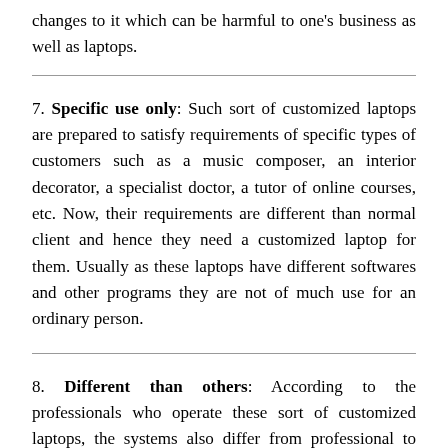changes to it which can be harmful to one's business as well as laptops.
7. Specific use only: Such sort of customized laptops are prepared to satisfy requirements of specific types of customers such as a music composer, an interior decorator, a specialist doctor, a tutor of online courses, etc. Now, their requirements are different than normal client and hence they need a customized laptop for them. Usually as these laptops have different softwares and other programs they are not of much use for an ordinary person.
8. Different than others: According to the professionals who operate these sort of customized laptops, the systems also differ from professional to professional. The customized laptop prepared for interior decorator cannot be much more helpful to a music composer as their